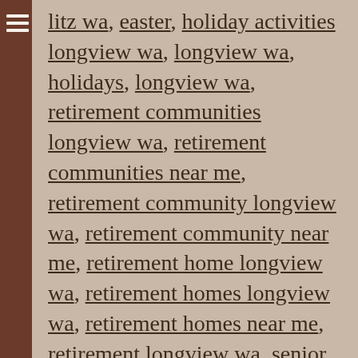litz wa, easter, holiday activities longview wa, holidays, longview wa, retirement communities longview wa, retirement communities near me, retirement community longview wa, retirement community near me, retirement home longview wa, retirement homes longview wa, retirement homes near me, retirement longview wa, senior activities, senior activities longview wa, senior activities near me, senior apartments longview wa, senior apartments near me, senior communities longview wa, senior communities near me, senior community